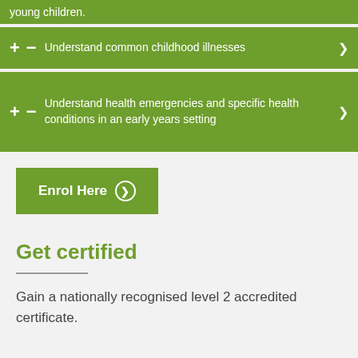young children
Understand common childhood illnesses
Understand health emergencies and specific health conditions in an early years setting
Enrol Here
Get certified
Gain a nationally recognised level 2 accredited certificate.